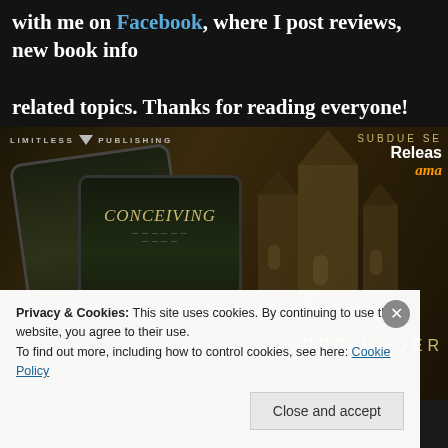with me on Facebook, where I post reviews, new book info, related topics. Thanks for reading everyone!
[Figure (screenshot): Limitless Publishing banner advertisement for 'Conceiving' by Thomas S. Flowers showing two tablet devices displaying the book cover against a dark gothic background with a building/church, text reads 'SUBDUE SERIES', 'Release', 'ama' (Amazon), 'PRE-ORDER']
Privacy & Cookies: This site uses cookies. By continuing to use this website, you agree to their use.
To find out more, including how to control cookies, see here: Cookie Policy
Close and accept